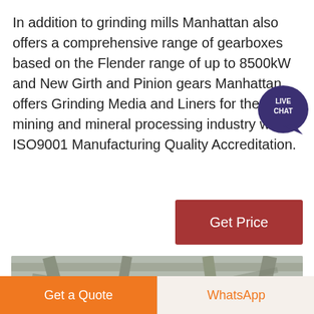In addition to grinding mills Manhattan also offers a comprehensive range of gearboxes based on the Flender range of up to 8500kW and New Girth and Pinion gears Manhattan offers Grinding Media and Liners for the mining and mineral processing industry with ISO9001 Manufacturing Quality Accreditation.
[Figure (other): Live Chat bubble icon with speech balloon, dark purple circle with LIVE CHAT text]
[Figure (other): Get Price button, dark red/maroon rectangle]
[Figure (photo): Industrial photo showing large cylindrical grinding mill equipment inside a factory/plant building]
[Figure (other): Bottom action bar with Get a Quote orange button and WhatsApp button]